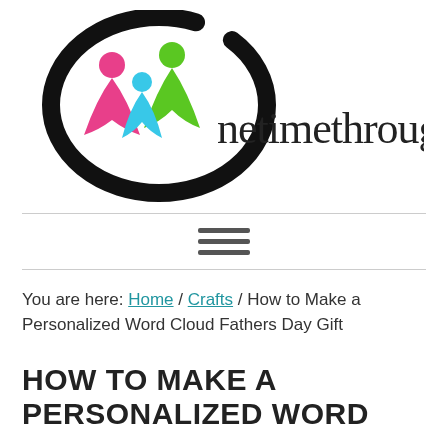[Figure (logo): onetimethrough logo: three stylized figures (pink, cyan, green) inside a thick black circular brush stroke, with the text 'onetimethrough' in handwritten/script font to the right]
You are here: Home / Crafts / How to Make a Personalized Word Cloud Fathers Day Gift
HOW TO MAKE A PERSONALIZED WORD